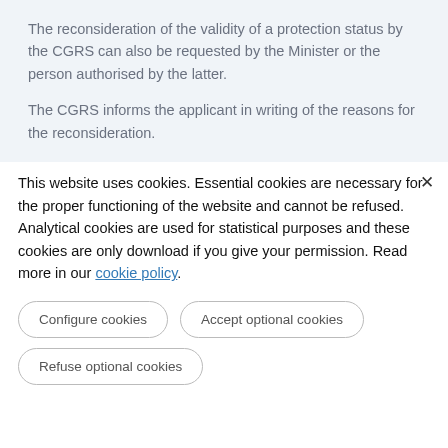The reconsideration of the validity of a protection status by the CGRS can also be requested by the Minister or the person authorised by the latter.
The CGRS informs the applicant in writing of the reasons for the reconsideration.
This website uses cookies. Essential cookies are necessary for the proper functioning of the website and cannot be refused. Analytical cookies are used for statistical purposes and these cookies are only download if you give your permission. Read more in our cookie policy.
Configure cookies
Accept optional cookies
Refuse optional cookies